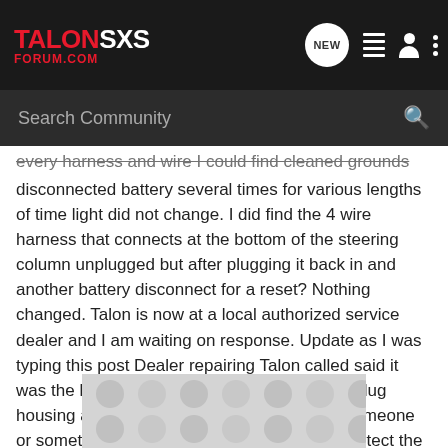TalonSXS Forum.com — navigation bar with logo, NEW button, list icon, profile icon, more options icon
Search Community
every harness and wire I could find cleaned grounds disconnected battery several times for various lengths of time light did not change. I did find the 4 wire harness that connects at the bottom of the steering column unplugged but after plugging it back in and another battery disconnect for a reset? Nothing changed. Talon is now at a local authorized service dealer and I am waiting on response. Update as I was typing this post Dealer repairing Talon called said it was the Plug I found and that wire inside the plug housing are not connected said it looks like someone or something pulled on the wire said it does detect the steering angle and are ordering me a new end unfortunately it may take all while to get with all that is going on the service rep said but he did say it should be an easy fix. FINGERS CROSSED
[Figure (other): Advertisement placeholder with repeating circle pattern]